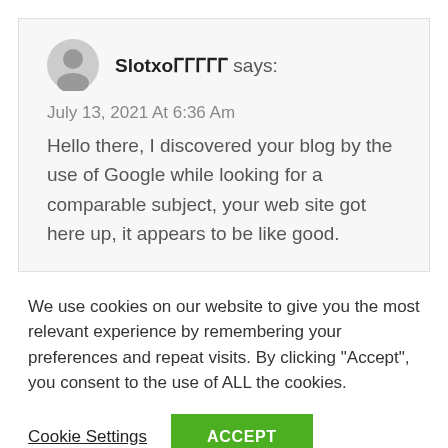Slotxo says:
July 13, 2021 At 6:36 Am
Hello there, I discovered your blog by the use of Google while looking for a comparable subject, your web site got here up, it appears to be like good.
We use cookies on our website to give you the most relevant experience by remembering your preferences and repeat visits. By clicking "Accept", you consent to the use of ALL the cookies.
Cookie Settings
ACCEPT